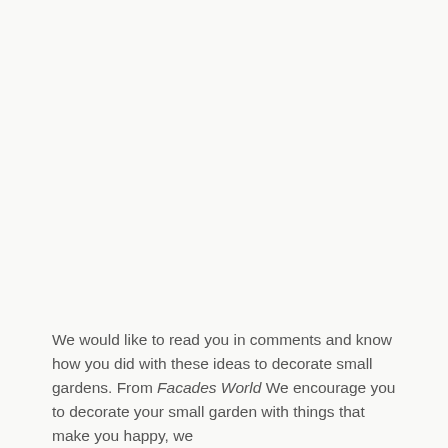We would like to read you in comments and know how you did with these ideas to decorate small gardens. From Facades World We encourage you to decorate your small garden with things that make you happy, we